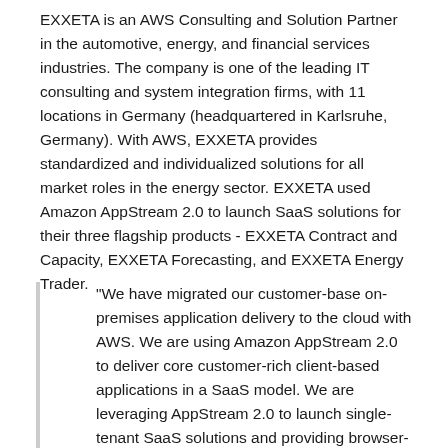EXXETA is an AWS Consulting and Solution Partner in the automotive, energy, and financial services industries. The company is one of the leading IT consulting and system integration firms, with 11 locations in Germany (headquartered in Karlsruhe, Germany). With AWS, EXXETA provides standardized and individualized solutions for all market roles in the energy sector. EXXETA used Amazon AppStream 2.0 to launch SaaS solutions for their three flagship products - EXXETA Contract and Capacity, EXXETA Forecasting, and EXXETA Energy Trader.
"We have migrated our customer-base on-premises application delivery to the cloud with AWS. We are using Amazon AppStream 2.0 to deliver core customer-rich client-based applications in a SaaS model. We are leveraging AppStream 2.0 to launch single-tenant SaaS solutions and providing browser-based application access. Customers do not need to download or install any software or plugins, and can access the applications